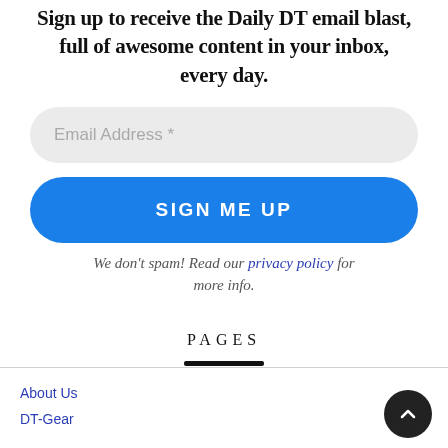Sign up to receive the Daily DT email blast, full of awesome content in your inbox, every day.
Email Address *
SIGN ME UP
We don't spam! Read our privacy policy for more info.
PAGES
About Us
DT-Gear